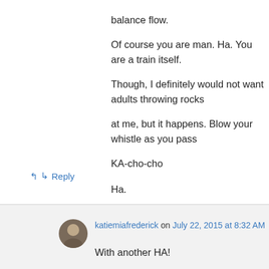balance flow.
Of course you are man. Ha. You are a train itself.
Though, I definitely would not want adults throwing rocks
at me, but it happens. Blow your whistle as you pass
KA-cho-cho

Ha.

Good morning man.
↳ Reply
katiemiafrederick on July 22, 2015 at 8:32 AM
With another HA!